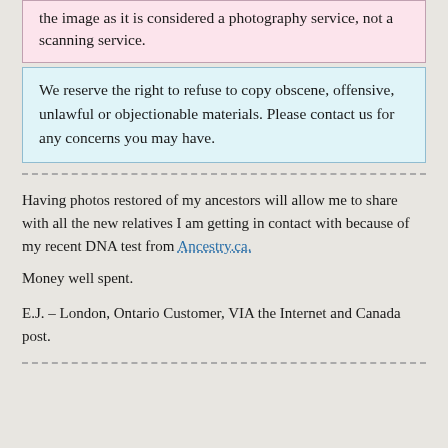the image as it is considered a photography service, not a scanning service.
We reserve the right to refuse to copy obscene, offensive, unlawful or objectionable materials. Please contact us for any concerns you may have.
Having photos restored of my ancestors will allow me to share with all the new relatives I am getting in contact with because of my recent DNA test from Ancestry.ca.
Money well spent.
E.J. – London, Ontario Customer, VIA the Internet and Canada post.